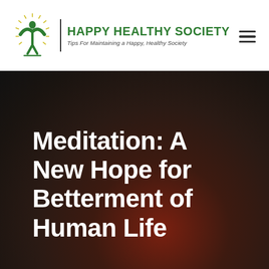[Figure (logo): Happy Healthy Society logo with green human figure and sunburst, brand name in green bold text, italic tagline 'Tips For Maintaining a Happy, Healthy Society']
[Figure (photo): Dark blurred background with red-brown gradient glow at bottom center, serving as hero image backdrop]
Meditation: A New Hope for Betterment of Human Life